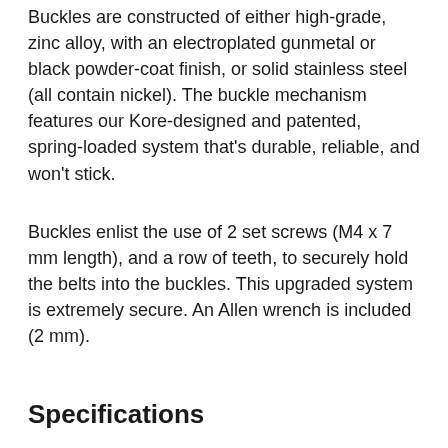Buckles are constructed of either high-grade, zinc alloy, with an electroplated gunmetal or black powder-coat finish, or solid stainless steel (all contain nickel). The buckle mechanism features our Kore-designed and patented, spring-loaded system that's durable, reliable, and won't stick.
Buckles enlist the use of 2 set screws (M4 x 7 mm length), and a row of teeth, to securely hold the belts into the buckles. This upgraded system is extremely secure. An Allen wrench is included (2 mm).
Specifications
Includes X1 Style Gun Buckle & Brown Top Grain Leather Reinforced Belt  [hex wrench & set screws]
Best fitting, most comfortable EDC gun belt you'll ever